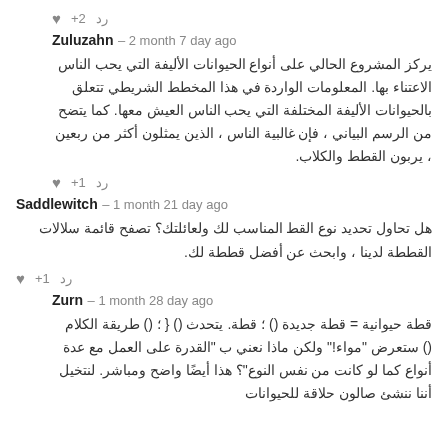رد  +2  ♥
Zuluzahn – 2 month 7 day ago
يركز المشروع الحالي على أنواع الحيوانات الأليفة التي يحب الناس الاعتناء بها. المعلومات الواردة في هذا المخطط الشريطي تتعلق بالحيوانات الأليفة المختلفة التي يحب الناس العيش معها. كما يتضح من الرسم البياني ، فإن غالبية الناس ، الذين يمثلون أكثر من ربعين ، يربون القطط والكلاب.
رد  +1  ♥
Saddlewitch – 1 month 21 day ago
هل تحاول تحديد نوع القط المناسب لك ولعائلتك؟ تصفح قائمة سلالات القططة لدينا ، وابحث عن أفضل قططة لك.
رد  +1  ♥
Zurn – 1 month 28 day ago
قطة حيوانية = قطة جديدة () ؛ قطة. يتحدث () { ؛ () طريقة الكلام () ستعرض "مواء!" ولكن ماذا نعني ب "القدرة على العمل مع عدة أنواع كما لو كانت من نفس النوع"؟ هذا أيضًا واضح ومباشر. لنتخيل أننا ننشئ صالون حلاقة للحيوانات